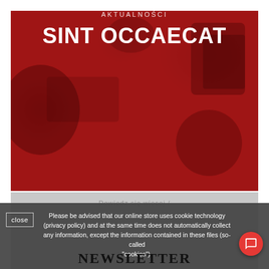[Figure (photo): Hero banner with dark red background and faint imagery of a workspace/tablet. Contains category label 'AKTUALNOŚCI' and bold title 'SINT OCCAECAT']
AKTUALNOŚCI
SINT OCCAECAT
[Figure (screenshot): Cookie consent overlay on gray background reading: 'Please be advised that our online store uses cookie technology (privacy policy) and at the same time does not automatically collect any information, except the information contained in these files (so-called "cookies").' with a close button on the left and a chat bubble icon on the right.]
Please be advised that our online store uses cookie technology (privacy policy) and at the same time does not automatically collect any information, except the information contained in these files (so-called "cookies").
NEWSLETTER